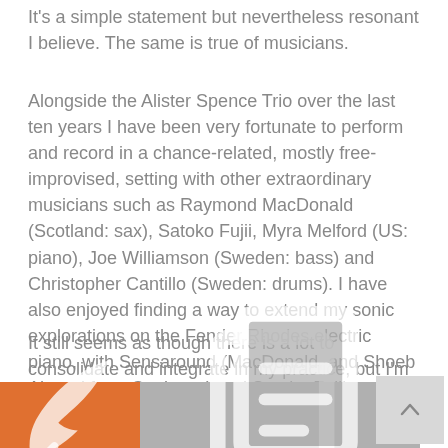It's a simple statement but nevertheless resonant I believe. The same is true of musicians.
Alongside the Alister Spence Trio over the last ten years I have been very fortunate to perform and record in a chance-related, mostly free-improvised, setting with other extraordinary musicians such as Raymond MacDonald (Scotland: sax), Satoko Fujii, Myra Melford (US: piano), Joe Williamson (Sweden: bass) and Christopher Cantillo (Sweden: drums). I have also enjoyed finding a way to extend my sonic explorations on the Fender Rhodes electric piano, with Sensaround (MacDonald, and Shoeb Ahmad from Canberra) and Satoko Fujii.
It still seems as though there is a lot to consolidate and integrate in my practice, but I'm definitely enjoying the exploration!
[Figure (other): Bottom bar with orange section containing a feather icon and gray section containing a copy/document icon, plus a gray scroll-to-top button with an upward chevron arrow on the right.]